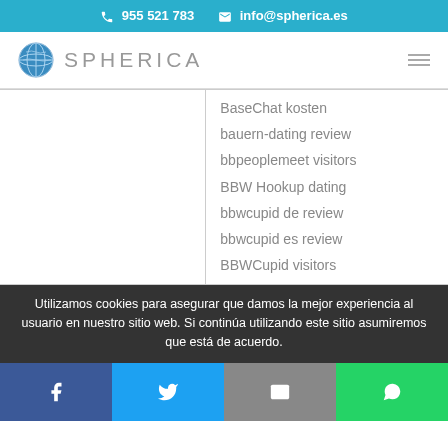955 521 783   info@spherica.es
[Figure (logo): Spherica logo with globe icon and text SPHERICA, hamburger menu icon on right]
BaseChat kosten
bauern-dating review
bbpeoplemeet visitors
BBW Hookup dating
bbwcupid de review
bbwcupid es review
BBWCupid visitors
Utilizamos cookies para asegurar que damos la mejor experiencia al usuario en nuestro sitio web. Si continúa utilizando este sitio asumiremos que está de acuerdo.
[Figure (infographic): Social share buttons: Facebook (blue), Twitter (blue), Email (gray), WhatsApp (green)]